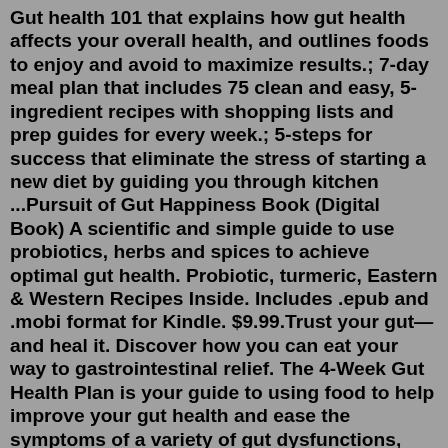Gut health 101 that explains how gut health affects your overall health, and outlines foods to enjoy and avoid to maximize results.; 7-day meal plan that includes 75 clean and easy, 5-ingredient recipes with shopping lists and prep guides for every week.; 5-steps for success that eliminate the stress of starting a new diet by guiding you through kitchen ...Pursuit of Gut Happiness Book (Digital Book) A scientific and simple guide to use probiotics, herbs and spices to achieve optimal gut health. Probiotic, turmeric, Eastern & Western Recipes Inside. Includes .epub and .mobi format for Kindle. $9.99.Trust your gut—and heal it. Discover how you can eat your way to gastrointestinal relief. The 4-Week Gut Health Plan is your guide to using food to help improve your gut health and ease the symptoms of a variety of gut dysfunctions, including gastritis, small intestinal bacterial overgrowth (SIBO), and gastroesophageal reflux disease (GERD). Restore balance for a happy and healthy gut.Inside the four-week Fiber Fueled journey, you'll find: The revolutionary, first of its